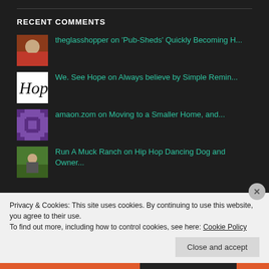RECENT COMMENTS
theglasshopper on 'Pub-Sheds' Quickly Becoming H...
We. See Hope on Always believe by Simple Remin...
amaon.zom on Moving to a Smaller Home, and...
Run A Muck Ranch on Hip Hop Dancing Dog and Owner...
Privacy & Cookies: This site uses cookies. By continuing to use this website, you agree to their use.
To find out more, including how to control cookies, see here: Cookie Policy
Close and accept